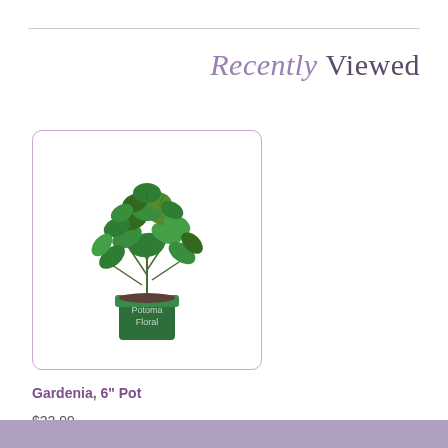Recently Viewed
[Figure (photo): A gardenia plant with lush green leaves in a dark green pot labeled 'Potomac Floral']
Gardenia, 6" Pot
$22.99